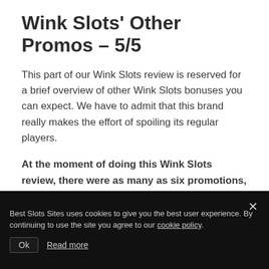Wink Slots' Other Promos – 5/5
This part of our Wink Slots review is reserved for a brief overview of other Wink Slots bonuses you can expect. We have to admit that this brand really makes the effort of spoiling its regular players.
At the moment of doing this Wink Slots review, there were as many as six promotions, including daily cashbacks, daily challenges, and many others. Make sure to look them up and see if you'd like to pursue any when you complete your Wink Slots login.
Also, look up this other reviews about Amazon Slots and Casumo Slots
Best Slots Sites uses cookies to give you the best user experience. By continuing to use the site you agree to our cookie policy.
Ok   Read more